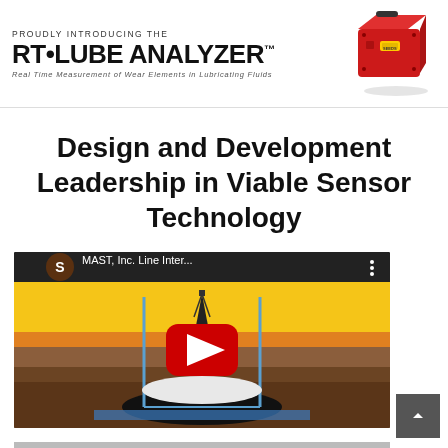[Figure (logo): RT-LUBE ANALYZER product header with red device image. Text: PROUDLY INTRODUCING THE RT·LUBE ANALYZER™. Real Time Measurement of Wear Elements in Lubricating Fluids.]
Design and Development Leadership in Viable Sensor Technology
[Figure (screenshot): YouTube video thumbnail showing MAST, Inc. Line Inter... video. Animated illustration of oil rig drilling into underground reservoir with yellow sky background. Red YouTube play button in center. Profile icon with letter S visible top left.]